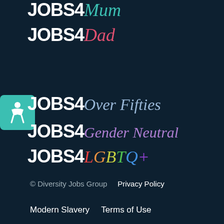[Figure (logo): JOBS4Mum logo - JOBS4 in bold white, Mum in teal italic script]
[Figure (logo): JOBS4Dad logo - JOBS4 in bold white, Dad in pink/red italic script]
[Figure (logo): JOBS4Over Fifties logo - JOBS4 in bold white, Over Fifties in light blue italic script, with teal accessibility icon]
[Figure (logo): JOBS4Gender Neutral logo - JOBS4 in bold white, Gender Neutral in purple italic script]
[Figure (logo): JOBS4 LGBTQ+ logo - JOBS4 in bold white, LGBTQ+ in rainbow colored italic script]
© Diversity Jobs Group   Privacy Policy
Modern Slavery   Terms of Use